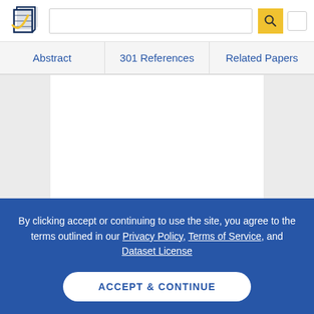[Figure (logo): Semantic Scholar logo — stylized dark navy pages icon with gold checkmark swoosh]
Abstract | 301 References | Related Papers
By clicking accept or continuing to use the site, you agree to the terms outlined in our Privacy Policy, Terms of Service, and Dataset License
ACCEPT & CONTINUE